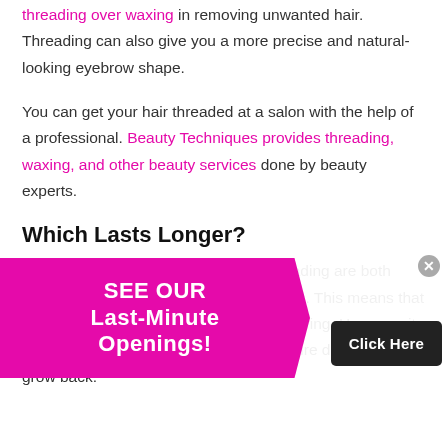threading over waxing in removing unwanted hair. Threading can also give you a more precise and natural-looking eyebrow shape.
You can get your hair threaded at a salon with the help of a professional. Beauty Techniques provides threading, waxing, and other beauty services done by beauty experts.
Which Lasts Longer?
Like mentioned above, waxing and threading are both semi-permanent hair removal procedures. This means that hair takes a longer time to grow than shaving. However, it does not kill the follicles as laser procedure does. So they grow back.
[Figure (other): Popup advertisement banner with magenta background and chevron shape displaying 'SEE OUR Last-Minute Openings!' with a 'Click Here' button on dark background and a close (x) button]